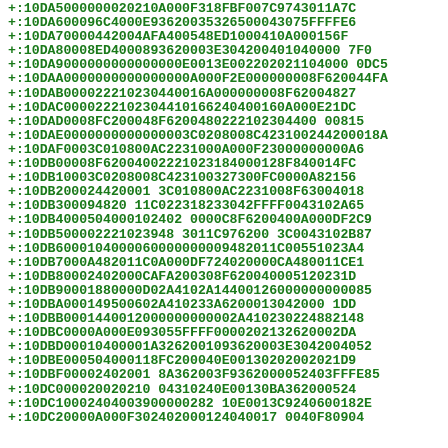+:10DA5000000020210A000F318FBF007C9743011A7C
+:10DA600096C4000E93620035326500043075FFFFE6
+:10DA70000442004AFA400548ED1000410A000156F
+:10DA80008ED40008936200 3E30420040104000 7F0
+:10DA90000000000000000E0013E00220202110400 00DC5
+:10DAA000000000000000A000F2E000000008F620044FA
+:10DAB00002221023044 0016A000000008F62004827
+:10DAC000022210230441016624 04 00160A000E21DC
+:10DAD0008FC200048F620048022210230440000815
+:10DAE000000000000003C0208008C4231002442 00018A
+:10DAF0003C010800AC22310 00A000F2300000000 0A6
+:10DB00008F6200400222102 31840 00128F840014FC
+:10DB10003C0208008C423100327300FC0000A82156
+:10DB20002442 00013C010800AC22310 08F63004018
+:10DB300 09482011C0223182 33042FFFF0043102A65
+:10DB40005040001024020000C8F6200400A000DF2C9
+:10DB500002221023 94830 11C97620 03C0043102B87
+:10DB600010400006000000000 9482011C00551023A4
+:10DB7000A482011C0A000DF724020000CA480011CE1
+:10DB80002402000CAFA200308F620040051 20231D
+:10DB900018800 00D02A4102A14400126000000 000085
+:10DBA00014950 0602A410233A620001304200 01DD
+:10DBB000144001200000000 0002A410230224882148
+:10DBC0000A000E093055FFFF000020213262 0002DA
+:10DBD000010400 01A3262001093620 03E3042004052
+:10DBE0005040001 18FC200040E00130202002021D9
+:10DBF000024020018A362003F9362000524 03FFFE85
+:10DC00002002021004310240E00130BA362000524
+:10DC1000240400390000028210E0013C9240600182E
+:10DC20000A000F3024020001240400170040F80904